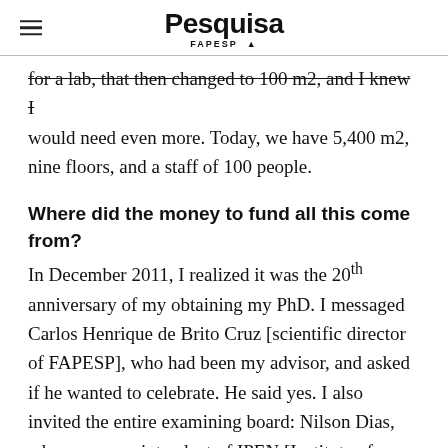Pesquisa FAPESP
for a lab, that then changed to 100 m2, and I knew I would need even more. Today, we have 5,400 m2, nine floors, and a staff of 100 people.
Where did the money to fund all this come from?
In December 2011, I realized it was the 20th anniversary of my obtaining my PhD. I messaged Carlos Henrique de Brito Cruz [scientific director of FAPESP], who had been my advisor, and asked if he wanted to celebrate. He said yes. I also invited the entire examining board: Nilson Dias, who was superintendent of IPEN [Institute of Energy and Nuclear Research], Sérgio Celaschi [from the Center for Telecommunications Research and Development—